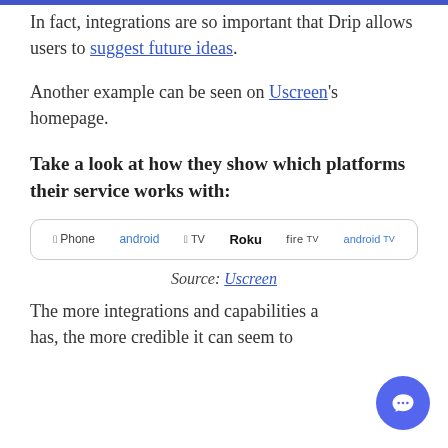In fact, integrations are so important that Drip allows users to suggest future ideas.
Another example can be seen on Uscreen's homepage.
Take a look at how they show which platforms their service works with:
[Figure (other): A rounded-rectangle box showing platform icons and names: iPhone, android, Apple TV, Roku, fireTV, android tv]
Source: Uscreen
The more integrations and capabilities a tool has, the more credible it can seem to